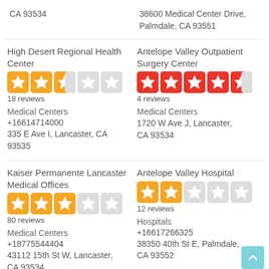CA 93534
38600 Medical Center Drive, Palmdale, CA 93551
High Desert Regional Health Center
[Figure (other): 2.5 star rating out of 5 (orange stars)]
18 reviews
Medical Centers
+16614714000
335 E Ave I, Lancaster, CA 93535
Antelope Valley Outpatient Surgery Center
[Figure (other): 4.5 star rating out of 5 (red stars)]
4 reviews
Medical Centers
1720 W Ave J, Lancaster, CA 93534
Kaiser Permanente Lancaster Medical Offices
[Figure (other): 3 star rating out of 5 (orange stars)]
80 reviews
Medical Centers
+18775544404
43112 15th St W, Lancaster, CA 93534
Antelope Valley Hospital
[Figure (other): 1.5 star rating out of 5 (orange stars)]
12 reviews
Hospitals
+16617266325
38350 40th St E, Palmdale, CA 93552